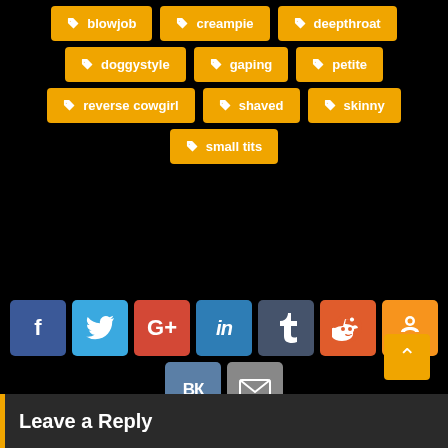blowjob
creampie
deepthroat
doggystyle
gaping
petite
reverse cowgirl
shaved
skinny
small tits
[Figure (infographic): Social share buttons: Facebook, Twitter, Google+, LinkedIn, Tumblr, Reddit, Odnoklassniki, VK, Email]
Leave a Reply